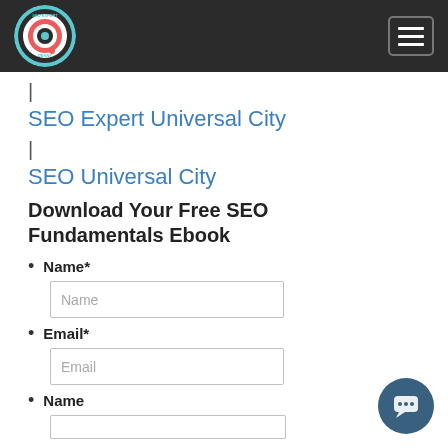[Figure (logo): SEO Expert logo - circular target/bullseye icon on teal background with text 'SEO EXPERT DENNY']
|
SEO Expert Universal City
|
SEO Universal City
Download Your Free SEO Fundamentals Ebook
Name*
Email*
Name